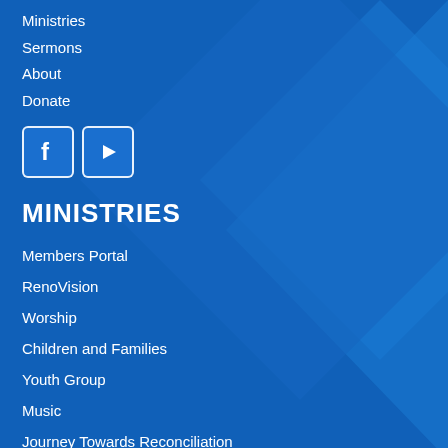Ministries
Sermons
About
Donate
[Figure (infographic): Social media icons: Facebook and YouTube]
MINISTRIES
Members Portal
RenoVision
Worship
Children and Families
Youth Group
Music
Journey Towards Reconciliation
Issues and Action